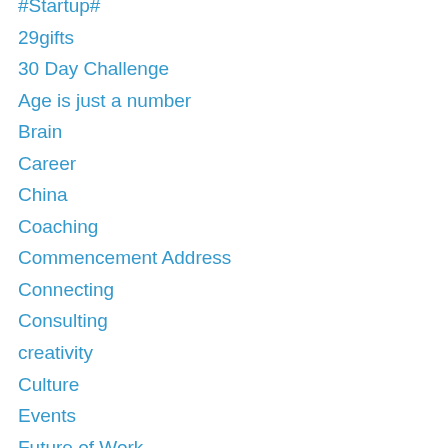#Startup#
29gifts
30 Day Challenge
Age is just a number
Brain
Career
China
Coaching
Commencement Address
Connecting
Consulting
creativity
Culture
Events
Future of Work
Gig Economy
Global Business
Happiness
HR
Humour